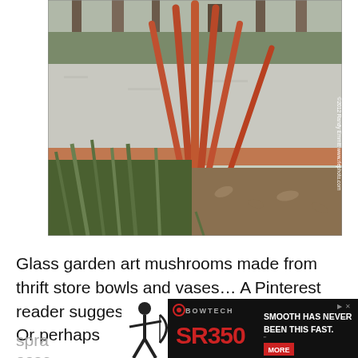[Figure (photo): Outdoor garden scene showing bare red-stemmed shrubs with multiple arching branches, set against a gravel path, green grass and trees in the background. Photo credit: ©2012 Randy Emmitt www.rlephoto.com]
Glass garden art mushrooms made from thrift store bowls and vases… A Pinterest reader suggested using a solar light inside? Or perhaps spra... asse...
[Figure (infographic): Bowtech advertisement banner showing SR350 bow. Text: BOWTECH, SR350, SMOOTH HAS NEVER BEEN THIS FAST. MORE button.]